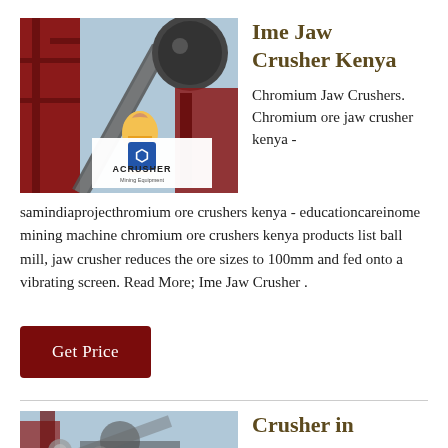[Figure (photo): Industrial jaw crusher machinery with red steel frame structure and a worker wearing a yellow hard hat; ACRUSHER Mining Equipment logo overlay at bottom right of photo]
Ime Jaw Crusher Kenya
Chromium Jaw Crushers. Chromium ore jaw crusher kenya - samindiaprojecthromium ore crushers kenya - educationcareinome mining machine chromium ore crushers kenya products list ball mill, jaw crusher reduces the ore sizes to 100mm and fed onto a vibrating screen. Read More; Ime Jaw Crusher .
Get Price
[Figure (photo): Partial view of crusher machinery at bottom left of page]
Crusher in